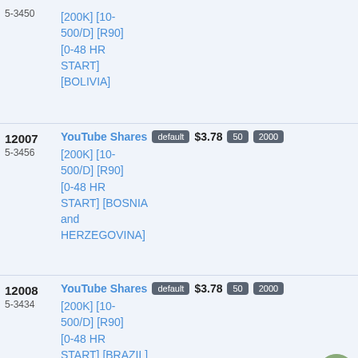| ID | Service | Badge | Price | Qty | MOQ |
| --- | --- | --- | --- | --- | --- |
| 5-3450 | [200K] [10-500/D] [R90] [0-48 HR START] [BOLIVIA] |  |  |  |  |
| 12007 / 5-3456 | YouTube Shares [200K] [10-500/D] [R90] [0-48 HR START] [BOSNIA and HERZEGOVINA] | default | $3.78 | 50 | 2000 |
| 12008 / 5-3434 | YouTube Shares [200K] [10-500/D] [R90] [0-48 HR START] [BRAZIL] | default | $3.78 | 50 | 2000 |